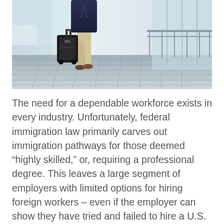[Figure (photo): A person in business casual attire pulling a rolling suitcase walking through what appears to be an airport terminal corridor with glass walls and railings.]
The need for a dependable workforce exists in every industry. Unfortunately, federal immigration law primarily carves out immigration pathways for those deemed “highly skilled,” or, requiring a professional degree. This leaves a large segment of employers with limited options for hiring foreign workers – even if the employer can show they have tried and failed to hire a U.S. worker.